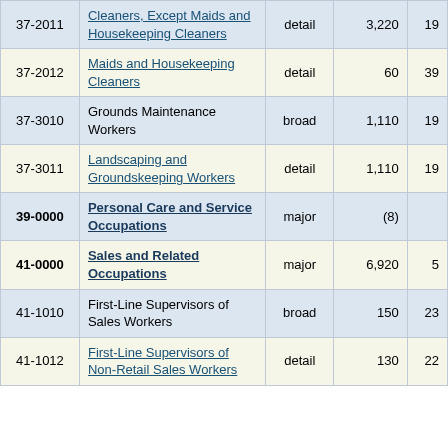| Code | Title | Level | Employment | ... |
| --- | --- | --- | --- | --- |
| 37-2011 | Cleaners, Except Maids and Housekeeping Cleaners | detail | 3,220 | 19... |
| 37-2012 | Maids and Housekeeping Cleaners | detail | 60 | 39... |
| 37-3010 | Grounds Maintenance Workers | broad | 1,110 | 19... |
| 37-3011 | Landscaping and Groundskeeping Workers | detail | 1,110 | 19... |
| 39-0000 | Personal Care and Service Occupations | major | (8) |  |
| 41-0000 | Sales and Related Occupations | major | 6,920 | 5... |
| 41-1010 | First-Line Supervisors of Sales Workers | broad | 150 | 23... |
| 41-1012 | First-Line Supervisors of Non-Retail Sales Workers | detail | 130 | 22... |